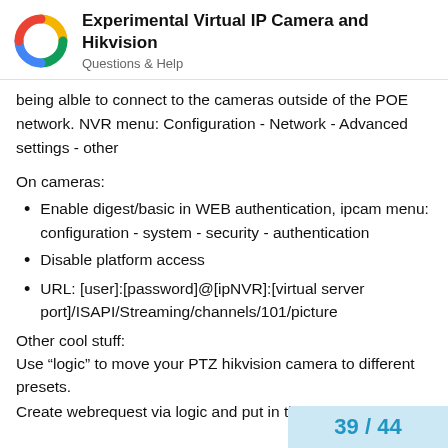Experimental Virtual IP Camera and Hikvision
Questions & Help
being alble to connect to the cameras outside of the POE network. NVR menu: Configuration - Network - Advanced settings - other
On cameras:
Enable digest/basic in WEB authentication, ipcam menu: configuration - system - security - authentication
Disable platform access
URL: [user]:[password]@[ipNVR]:[virtual server port]/ISAPI/Streaming/channels/101/picture
Other cool stuff:
Use “logic” to move your PTZ hikvision camera to different presets.
Create webrequest via logic and put in th
39 / 44